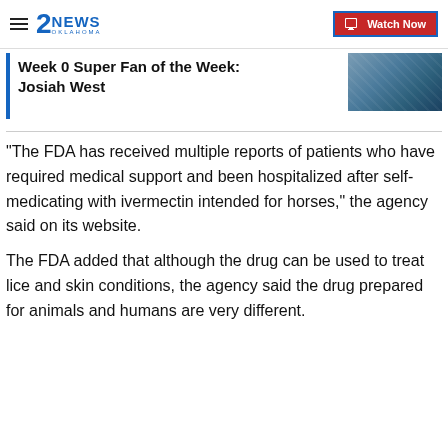2NEWS OKLAHOMA — Watch Now
Week 0 Super Fan of the Week: Josiah West
"The FDA has received multiple reports of patients who have required medical support and been hospitalized after self-medicating with ivermectin intended for horses," the agency said on its website.
The FDA added that although the drug can be used to treat lice and skin conditions, the agency said the drug prepared for animals and humans are very different.